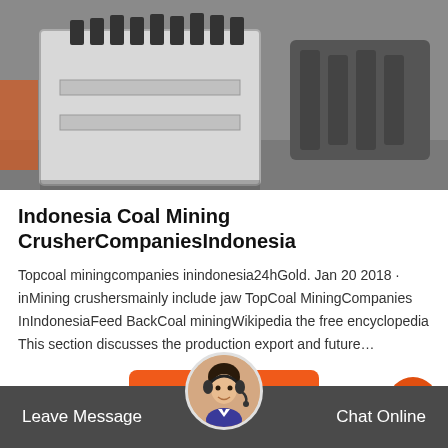[Figure (photo): Industrial mining crusher machine, painted white and grey, shown outdoors on a concrete surface with other heavy machinery in the background.]
Indonesia Coal Mining CrusherCompaniesIndonesia
Topcoal miningcompanies inindonesia24hGold. Jan 20 2018 · inMining crushersmainly include jaw TopCoal MiningCompanies InIndonesiaFeed BackCoal miningWikipedia the free encyclopedia This section discusses the production export and future…
[Figure (other): Orange 'Get Price' button and orange circular scroll-up arrow button on the right.]
[Figure (other): Dark grey footer bar with 'Leave Message' on the left and 'Chat Online' on the right, with a circular avatar image of a customer service representative in the center.]